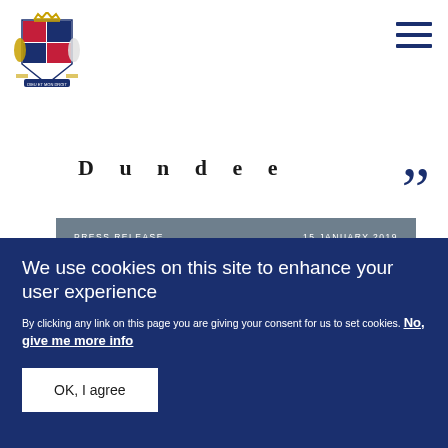[Figure (logo): Royal coat of arms logo in dark blue/navy]
[Figure (other): Hamburger menu icon (three horizontal lines)]
Dundee
”
PRESS RELEASE    15 JANUARY 2019
The Duchess Of Cambridge to Showcase ‘Back To Nature’ Garden At Chelsea Flower Show
We use cookies on this site to enhance your user experience
By clicking any link on this page you are giving your consent for us to set cookies. No, give me more info
OK, I agree